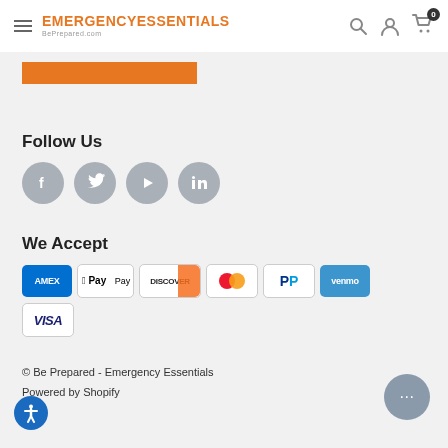[Figure (logo): Emergency Essentials / BePrepared.com logo with hamburger menu and header icons]
[Figure (other): Orange rectangular button/bar]
Follow Us
[Figure (infographic): Social media icons: Facebook, Twitter, YouTube, LinkedIn in gray circles]
We Accept
[Figure (infographic): Payment method icons: Amex, Apple Pay, Discover, Mastercard, PayPal, Venmo, Visa]
© Be Prepared - Emergency Essentials
Powered by Shopify